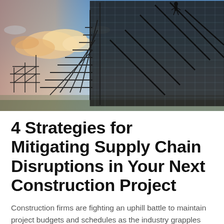[Figure (photo): Silhouette of large construction scaffolding structure against a blue sky with clouds at sunset/dusk. The scaffolding forms a complex grid-like framework, photographed from a low angle looking upward.]
4 Strategies for Mitigating Supply Chain Disruptions in Your Next Construction Project
Construction firms are fighting an uphill battle to maintain project budgets and schedules as the industry grapples